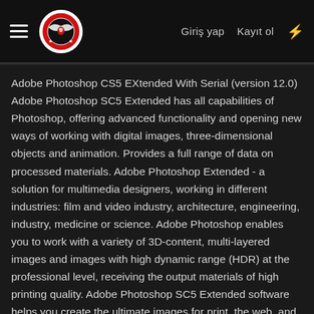Giriş yap   Kayıt ol
Adobe Photoshop CS5 EXtended With Serial (version 12.0) Adobe Photoshop SC5 Extended has all capabilities of Photoshop, offering advanced functionality and opening new ways of working with digital images, three-dimensional objects and animation. Provides a full range of data on processed materials. Adobe Photoshop Extended - a solution for multimedia designers, working in different industries: film and video industry, architecture, engineering, industry, medicine or science. Adobe Photoshop enables you to work with a variety of 3D-content, multi-layered images and images with high dynamic range (HDR) at the professional level, receiving the output materials of high printing quality. Adobe Photoshop SC5 Extended software helps you create the ultimate images for print, the web, and video. Get all the state-of-the-art editing, compositing, and painting capabilities in industry-standard Photoshop CS5 plus tools that let you create and edit 3D images and motion-based content. Adobe Photoshop SC5